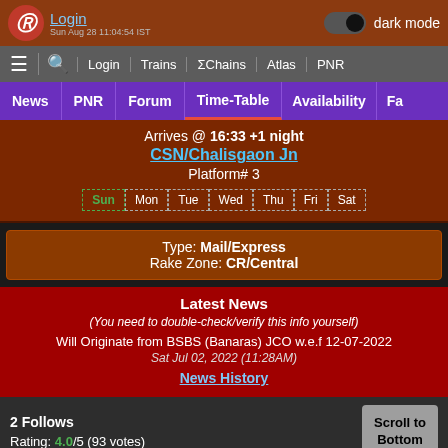Login | dark mode | Sun Aug 28 11:04:54 IST
≡ 🔍 Login | Trains | ΣChains | Atlas | PNR
News | PNR | Forum | Time-Table | Availability | Fa
Arrives @ 16:33 +1 night
CSN/Chalisgaon Jn
Platform# 3
Sun | Mon | Tue | Wed | Thu | Fri | Sat
Type: Mail/Express
Rake Zone: CR/Central
Latest News
(You need to double-check/verify this info yourself)
Will Originate from BSBS (Banaras) JCO w.e.f 12-07-2022
Sat Jul 02, 2022 (11:28AM)
News History
2 Follows
Rating: 4.0/5 (93 votes)